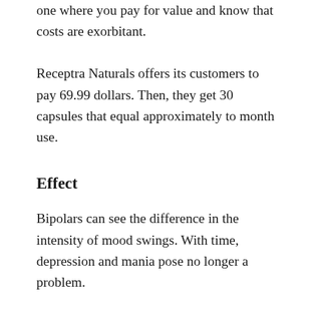one where you pay for value and know that costs are exorbitant.
Receptra Naturals offers its customers to pay 69.99 dollars. Then, they get 30 capsules that equal approximately to month use.
Effect
Bipolars can see the difference in the intensity of mood swings. With time, depression and mania pose no longer a problem.
The best result does not depend only on the CBD product. With a composition like in Receptra Naturals, it is down to the person to